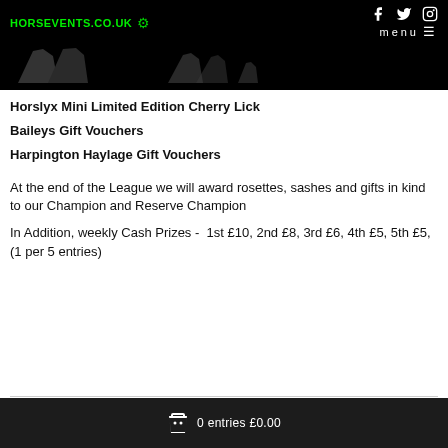HORSEVENTS.CO.UK — menu — social icons (Facebook, Twitter, Instagram)
Horslyx Mini Limited Edition Cherry Lick
Baileys Gift Vouchers
Harpington Haylage Gift Vouchers
At the end of the League we will award rosettes, sashes and gifts in kind to our Champion and Reserve Champion
In Addition, weekly Cash Prizes - 1st £10, 2nd £8, 3rd £6, 4th £5, 5th £5, (1 per 5 entries)
0 entries £0.00